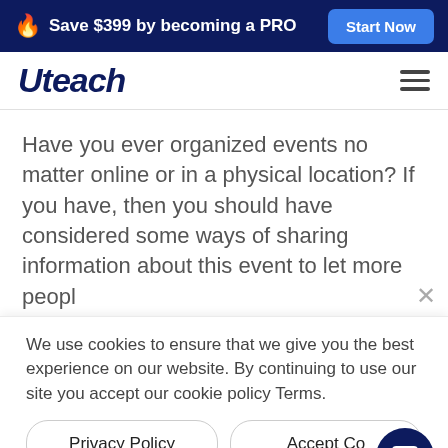🔥 Save $399 by becoming a PRO   Start Now
[Figure (logo): Uteach logo in dark blue italic bold font with hamburger menu icon]
Have you ever organized events no matter online or in a physical location? If you have, then you should have considered some ways of sharing information about this event to let more peopl
We use cookies to ensure that we give you the best experience on our website. By continuing to use our site you accept our cookie policy Terms.
Privacy Policy    Accept Co
useful info that will make people take part in the